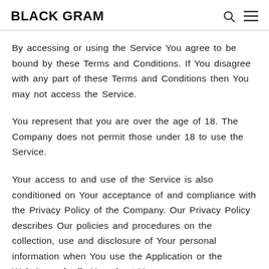BLACK GRAM
By accessing or using the Service You agree to be bound by these Terms and Conditions. If You disagree with any part of these Terms and Conditions then You may not access the Service.
You represent that you are over the age of 18. The Company does not permit those under 18 to use the Service.
Your access to and use of the Service is also conditioned on Your acceptance of and compliance with the Privacy Policy of the Company. Our Privacy Policy describes Our policies and procedures on the collection, use and disclosure of Your personal information when You use the Application or the Website and tells You about Your